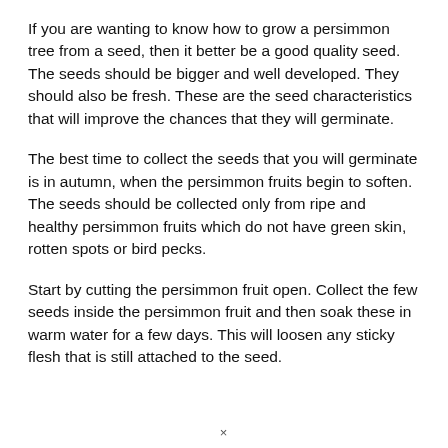If you are wanting to know how to grow a persimmon tree from a seed, then it better be a good quality seed. The seeds should be bigger and well developed. They should also be fresh. These are the seed characteristics that will improve the chances that they will germinate.
The best time to collect the seeds that you will germinate is in autumn, when the persimmon fruits begin to soften. The seeds should be collected only from ripe and healthy persimmon fruits which do not have green skin, rotten spots or bird pecks.
Start by cutting the persimmon fruit open. Collect the few seeds inside the persimmon fruit and then soak these in warm water for a few days. This will loosen any sticky flesh that is still attached to the seed.
×